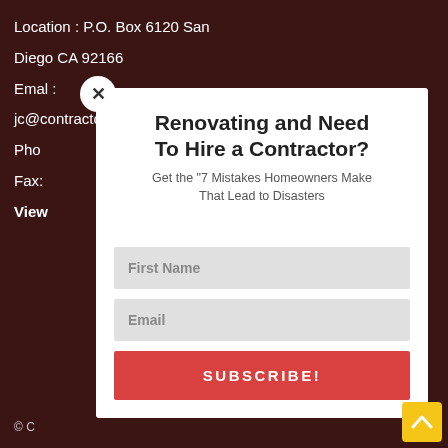Location : P.O. Box 6120 San Diego CA 92166
Emal : jc@contractorsfromhell.com
Pho[ne: partially obscured]
Fax: [partially obscured]
View [partially obscured]
Renovating and Need To Hire a Contractor?
Get the “7 Mistakes Homeowners Make That Lead to Disasters
First Name
Email
SUBSCRIBE!
© C[opyright partially obscured]